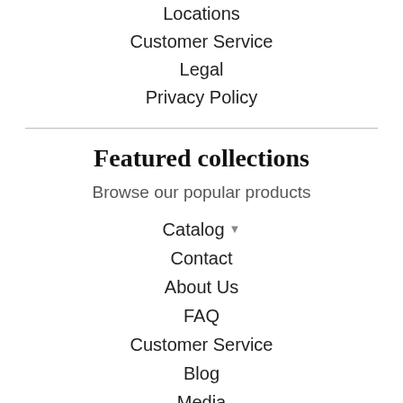Locations
Customer Service
Legal
Privacy Policy
Featured collections
Browse our popular products
Catalog
Contact
About Us
FAQ
Customer Service
Blog
Media
Get in touch